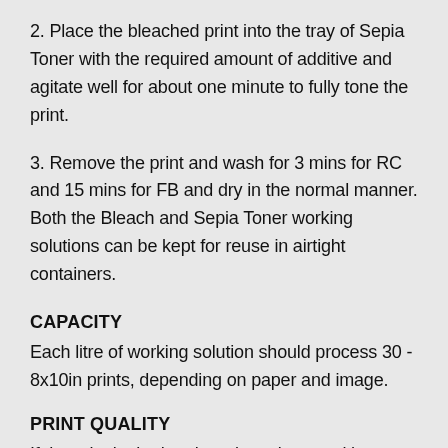2. Place the bleached print into the tray of Sepia Toner with the required amount of additive and agitate well for about one minute to fully tone the print.
3. Remove the print and wash for 3 mins for RC and 15 mins for FB and dry in the normal manner. Both the Bleach and Sepia Toner working solutions can be kept for reuse in airtight containers.
CAPACITY
Each litre of working solution should process 30 - 8x10in prints, depending on paper and image.
PRINT QUALITY
If there is doubt that the print to be toned has been fixed and washed thoroughly, it should be refixed and